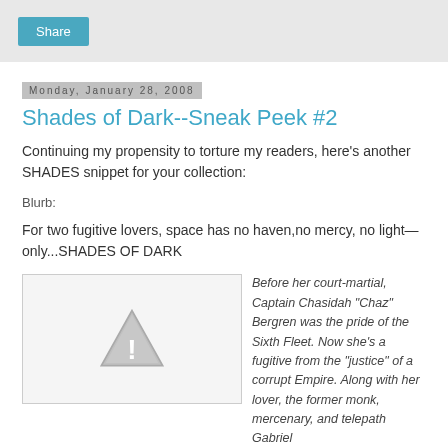Share
Monday, January 28, 2008
Shades of Dark--Sneak Peek #2
Continuing my propensity to torture my readers, here's another SHADES snippet for your collection:
Blurb:
For two fugitive lovers, space has no haven,no mercy, no light—only...SHADES OF DARK
[Figure (illustration): Warning/placeholder triangle icon with exclamation mark in grey]
Before her court-martial, Captain Chasidah “Chaz” Bergren was the pride of the Sixth Fleet. Now she’s a fugitive from the “justice” of a corrupt Empire. Along with her lover, the former monk, mercenary, and telepath Gabriel